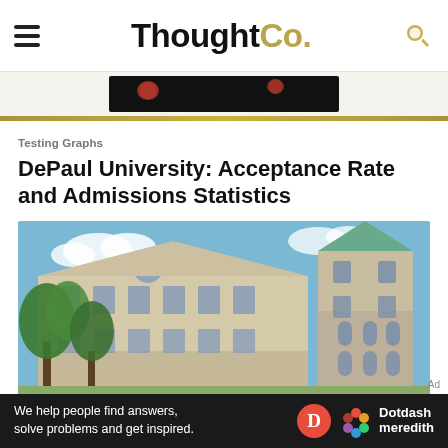ThoughtCo.
[Figure (screenshot): Dark video thumbnail strip with red glowing dots]
Testing Graphs
DePaul University: Acceptance Rate and Admissions Statistics
[Figure (photo): DePaul University building exterior — tan stone Gothic-style academic building with trees in foreground and a church tower with green copper roof against blue sky]
We help people find answers, solve problems and get inspired. Dotdash meredith